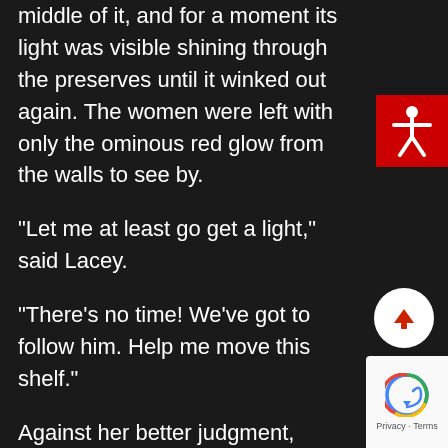middle of it, and for a moment its light was visible shining through the preserves until it winked out again. The women were left with only the ominous red glow from the walls to see by.
“Let me at least go get a light,” said Lacey.
“There’s no time! We’ve got to follow him. Help me move this shelf.”
Against her better judgment, Lacey followed Kara deeper into the basement. The shelf was heavy and disinclined to move from its spot on the floor, but after a lot of grunting
[Figure (illustration): Red square accessibility icon with white human figure (arms outstretched) in top right corner]
[Figure (illustration): White circular button with red upward arrow for scrolling up, bottom right area]
[Figure (illustration): Google reCAPTCHA badge with logo and Privacy - Terms text, bottom right corner]